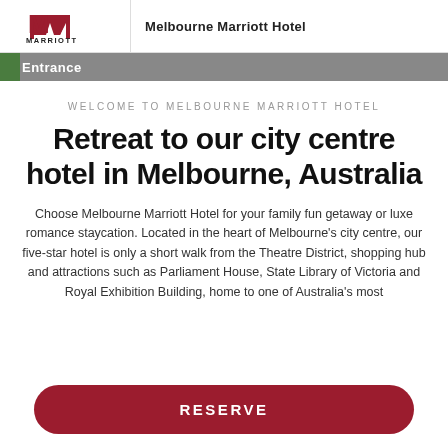Melbourne Marriott Hotel
[Figure (logo): Marriott logo with red M symbol and MARRIOTT text below]
[Figure (photo): Entrance image thumbnail with green foliage visible, grey bar with white text reading 'Entrance']
WELCOME TO MELBOURNE MARRIOTT HOTEL
Retreat to our city centre hotel in Melbourne, Australia
Choose Melbourne Marriott Hotel for your family fun getaway or luxe romance staycation. Located in the heart of Melbourne’s city centre, our five-star hotel is only a short walk from the Theatre District, shopping hub and attractions such as Parliament House, State Library of Victoria and Royal Exhibition Building, home to one of Australia’s most...
RESERVE